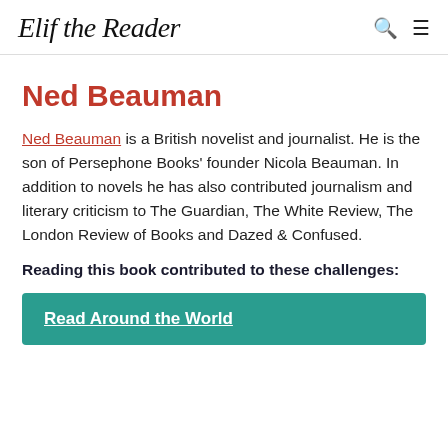Elif the Reader
Ned Beauman
Ned Beauman is a British novelist and journalist. He is the son of Persephone Books' founder Nicola Beauman. In addition to novels he has also contributed journalism and literary criticism to The Guardian, The White Review, The London Review of Books and Dazed & Confused.
Reading this book contributed to these challenges:
Read Around the World